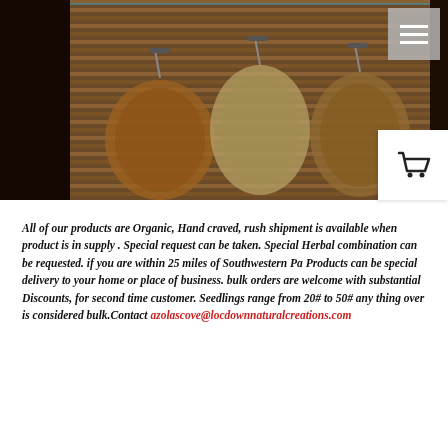[Figure (photo): Photo of several plastic bags containing herbs/seeds/plant material arranged in front of wooden blinds, with a dark brown background]
All of our products are Organic, Hand craved, rush shipment is available when product is in supply . Special request can be taken. Special Herbal combination can be requested. if you are within 25 miles of Southwestern Pa Products can be special delivery to your home or place of business. bulk orders are welcome with substantial Discounts, for second time customer. Seedlings range from 20# to 50# any thing over is considered bulk.Contact azolascove@locdownnaturalcreations.com